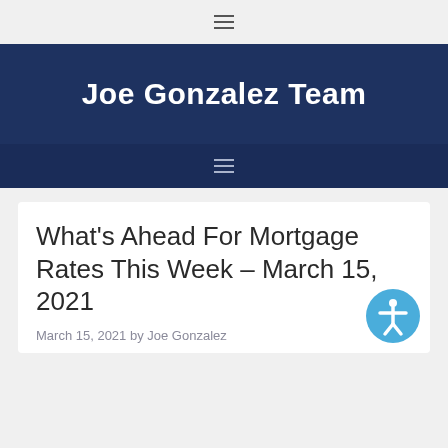☰
Joe Gonzalez Team
☰
What's Ahead For Mortgage Rates This Week – March 15, 2021
March 15, 2021 by Joe Gonzalez